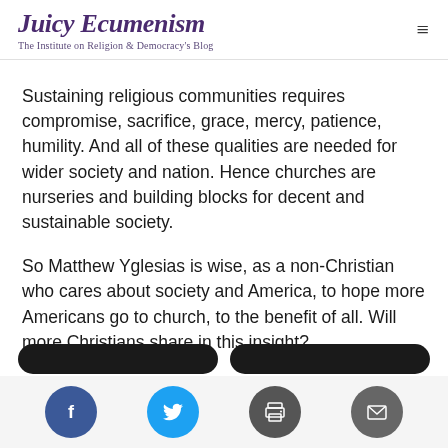Juicy Ecumenism – The Institute on Religion & Democracy's Blog
Sustaining religious communities requires compromise, sacrifice, grace, mercy, patience, humility. And all of these qualities are needed for wider society and nation. Hence churches are nurseries and building blocks for decent and sustainable society.
So Matthew Yglesias is wise, as a non-Christian who cares about society and America, to hope more Americans go to church, to the benefit of all. Will more Christians share in this insight?
Social share icons: Facebook, Twitter, Print, Email